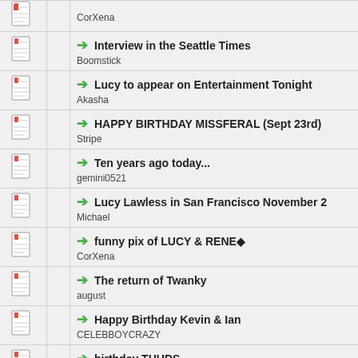CorXena
Interview in the Seattle Times
Boomstick
Lucy to appear on Entertainment Tonight
Akasha
HAPPY BIRTHDAY MISSFERAL (Sept 23rd)
Stripe
Ten years ago today...
gemini0521
Lucy Lawless in San Francisco November 2
Michael
funny pix of LUCY & RENE◆
CorXena
The return of Twanky
august
Happy Birthday Kevin & Ian
CELEBBOYCRAZY
birthday THUDS
brandy